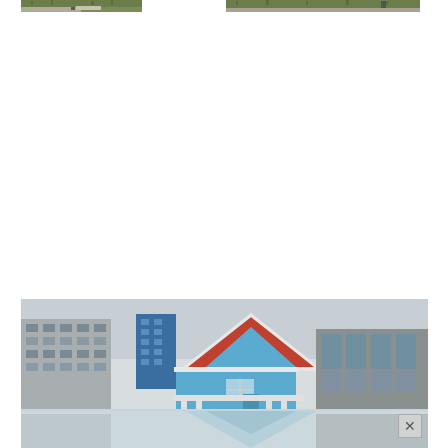[Figure (photo): Outdoor scene with grass and a person, partial view at top of page, left photo]
[Figure (photo): Outdoor scene with grass, partial view at top of page, right photo]
[Figure (photo): Wide-angle exterior photo of a small blue house with a red/brown roof situated between larger modern buildings, reflecting off a wet or mirrored floor surface, with an X close button in the lower right corner]